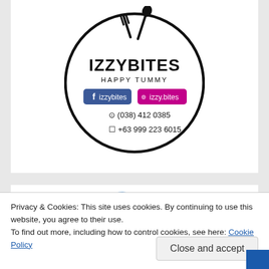[Figure (logo): IZZYBITES HAPPY TUMMY circular logo with crossed fork and spoon, Facebook badge 'izzybites', Instagram badge 'izzy.bites', phone (038) 412 0385, mobile +63 999 223 6015]
[Figure (logo): Partial blue curved logo/shape visible at bottom card]
Privacy & Cookies: This site uses cookies. By continuing to use this website, you agree to their use.
To find out more, including how to control cookies, see here: Cookie Policy
Close and accept